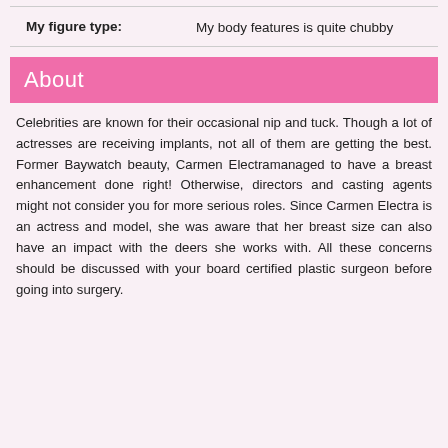| My figure type: |  |
| --- | --- |
| My figure type: | My body features is quite chubby |
About
Celebrities are known for their occasional nip and tuck. Though a lot of actresses are receiving implants, not all of them are getting the best. Former Baywatch beauty, Carmen Electramanaged to have a breast enhancement done right! Otherwise, directors and casting agents might not consider you for more serious roles. Since Carmen Electra is an actress and model, she was aware that her breast size can also have an impact with the deers she works with. All these concerns should be discussed with your board certified plastic surgeon before going into surgery.